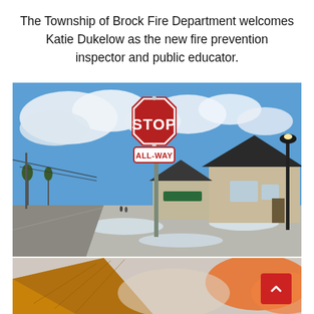The Township of Brock Fire Department welcomes Katie Dukelow as the new fire prevention inspector and public educator.
[Figure (photo): Outdoor photo of a STOP / ALL-WAY sign at a residential intersection in winter, with blue sky, clouds, houses, a street lamp, and snowy ground visible.]
[Figure (photo): Partial bottom photo showing a yellow/orange building roof edge on the left and a orange/pink cloud or smoke on the right, partially cropped.]